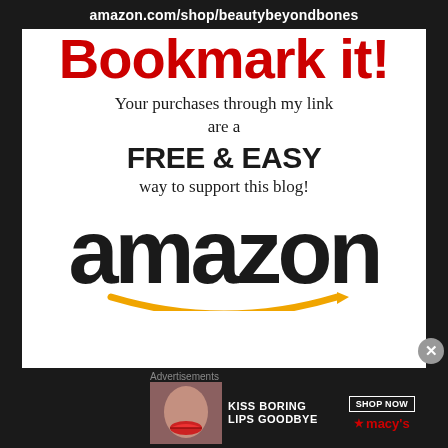amazon.com/shop/beautybeyondbones
BOOKMARK IT!
Your purchases through my link are a FREE & EASY way to support this blog!
[Figure (logo): Amazon logo with orange smile/arrow underneath]
Advertisements
[Figure (photo): Macy's advertisement banner: KISS BORING LIPS GOODBYE with woman's lips photo, SHOP NOW button and Macy's star logo]